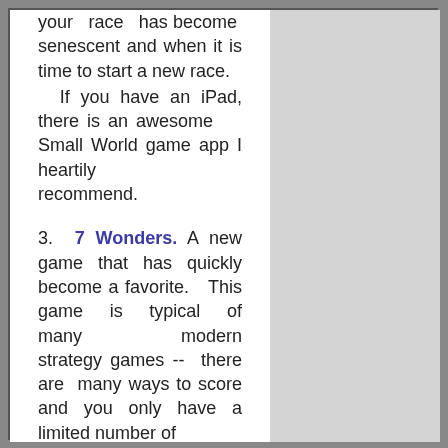your race has become senescent and when it is time to start a new race.
If you have an iPad, there is an awesome Small World game app I heartily recommend.
3. 7 Wonders. A new game that has quickly become a favorite. This game is typical of many modern strategy games -- there are many ways to score and you only have a limited number of